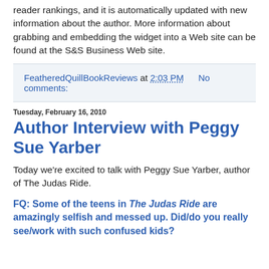reader rankings, and it is automatically updated with new information about the author. More information about grabbing and embedding the widget into a Web site can be found at the S&S Business Web site.
FeatheredQuillBookReviews at 2:03 PM   No comments:
Tuesday, February 16, 2010
Author Interview with Peggy Sue Yarber
Today we're excited to talk with Peggy Sue Yarber, author of The Judas Ride.
FQ: Some of the teens in The Judas Ride are amazingly selfish and messed up. Did/do you really see/work with such confused kids?